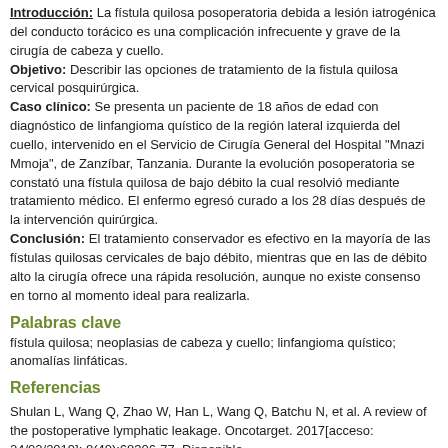Introducción: La fístula quilosa posoperatoria debida a lesión iatrogénica del conducto torácico es una complicación infrecuente y grave de la cirugía de cabeza y cuello. Objetivo: Describir las opciones de tratamiento de la fistula quilosa cervical posquirúrgica. Caso clínico: Se presenta un paciente de 18 años de edad con diagnóstico de linfangioma quístico de la región lateral izquierda del cuello, intervenido en el Servicio de Cirugía General del Hospital "Mnazi Mmoja", de Zanzíbar, Tanzania. Durante la evolución posoperatoria se constató una fístula quilosa de bajo débito la cual resolvió mediante tratamiento médico. El enfermo egresó curado a los 28 días después de la intervención quirúrgica. Conclusión: El tratamiento conservador es efectivo en la mayoría de las fístulas quilosas cervicales de bajo débito, mientras que en las de débito alto la cirugía ofrece una rápida resolución, aunque no existe consenso en torno al momento ideal para realizarla.
Palabras clave
fístula quilosa; neoplasias de cabeza y cuello; linfangioma quístico; anomalías linfáticas.
Referencias
Shulan L, Wang Q, Zhao W, Han L, Wang Q, Batchu N, et al. A review of the postoperative lymphatic leakage. Oncotarget. 2017[acceso: 24/02/2019]; 8(40):68306-77. Disponible...